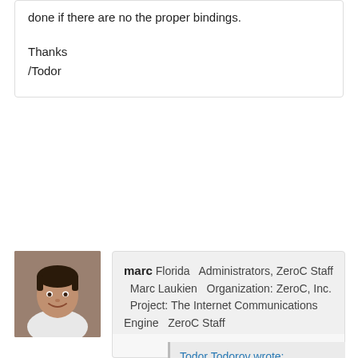done if there are no the proper bindings.
Thanks
/Todor
[Figure (photo): Profile photo of marc, a man in a light shirt smiling]
marc Florida   Administrators, ZeroC Staff   Marc Laukien   Organization: ZeroC, Inc.   Project: The Internet Communications Engine   ZeroC Staff
April 2005
Todor Todorov wrote:
First of all I would like to expres my thanks to you guys for greating this wonderfull framework.
I'm considering using Ice in my private project so I would like to